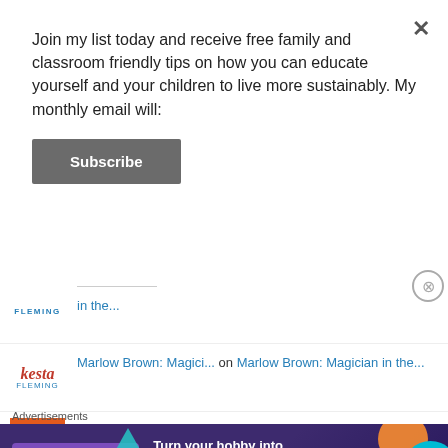Join my list today and receive free family and classroom friendly tips on how you can educate yourself and your children to live more sustainably. My monthly email will:
Subscribe
FLEMING ... in the...
Marlow Brown: Magici... on Marlow Brown: Magician in the...
Alicia Ortego on We are all equal by P.Crumble...
Need an author talk?... on Bee Detectives by
Advertisements
[Figure (infographic): WooCommerce advertisement banner: dark purple background with teal triangle, orange circle, blue circle shapes. WooCommerce logo in purple box with white text. Text reads: Turn your hobby into a business in 8 steps]